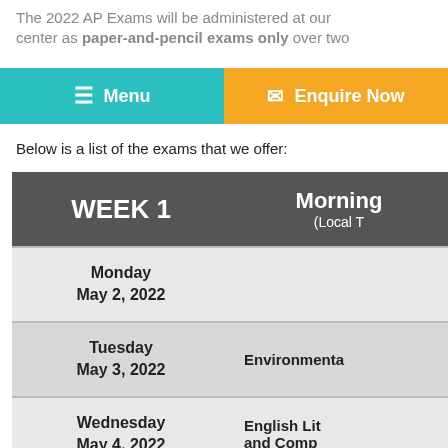The 2022 AP Exams will be administered at our center as paper-and-pencil exams only over two
[Figure (screenshot): Navigation bar with teal Menu button and yellow Enquire Now button]
Below is a list of the exams that we offer:
| WEEK 1 | Morning (Local T |
| --- | --- |
| Monday
May 2, 2022 |  |
| Tuesday
May 3, 2022 | Environmenta |
| Wednesday
May 4, 2022 | English Lit and Comp |
| Thursday
May 5, 2022 | Human Geo
Macroecon |